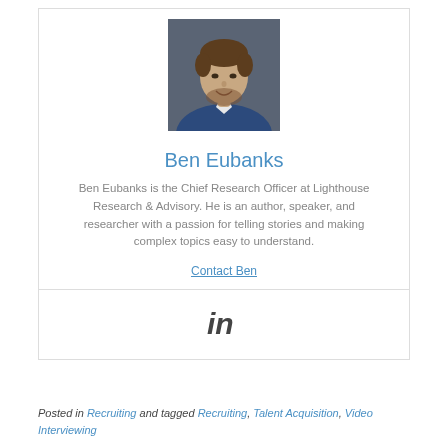[Figure (photo): Headshot of Ben Eubanks, a man in a blue suit jacket, smiling, photographed against a dark background.]
Ben Eubanks
Ben Eubanks is the Chief Research Officer at Lighthouse Research & Advisory. He is an author, speaker, and researcher with a passion for telling stories and making complex topics easy to understand.
Contact Ben
[Figure (logo): LinkedIn icon (in logo style)]
Posted in Recruiting and tagged Recruiting, Talent Acquisition, Video Interviewing